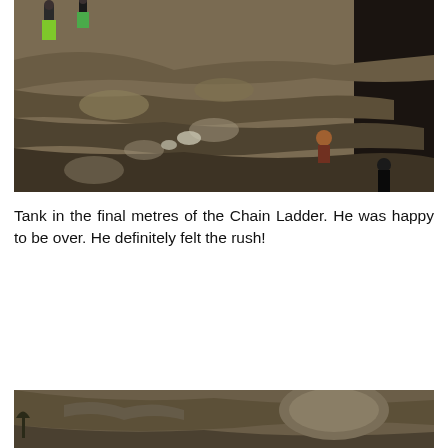[Figure (photo): Aerial/ground-level photo of people climbing rocky terrain on the Chain Ladder, with hikers visible at the top and middle of the rocky slope. One person wears bright yellow-green pants.]
Tank in the final metres of the Chain Ladder. He was happy to be over. He definitely felt the rush!
[Figure (photo): Partial photo of rocky mountainous terrain, showing the rocky surface of the Chain Ladder area, cut off at the bottom of the page.]